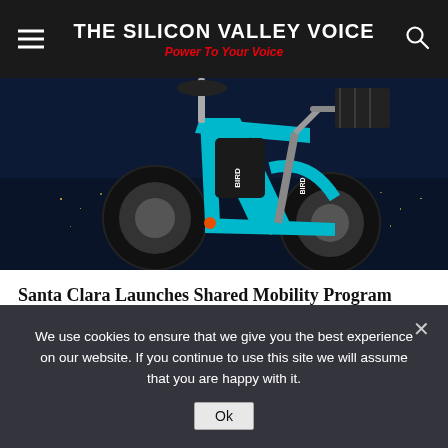THE SILICON VALLEY VOICE — Power To Your Voice
[Figure (photo): Close-up photo of a turquoise/cyan Bird-branded electric bicycle with black wheels and a basket, photographed against a night cityscape background with city lights visible.]
Santa Clara Launches Shared Mobility Program
[Figure (other): Gray advertisement placeholder box]
We use cookies to ensure that we give you the best experience on our website. If you continue to use this site we will assume that you are happy with it.